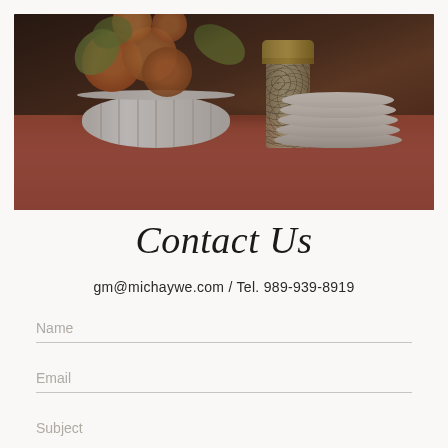[Figure (photo): Restaurant table setting with a white ribbed bowl of orange and green flowers, a glass salt shaker with gold lid, and a stack of cream plates, all on a terracotta/rust colored tablecloth. Dark chairs visible in background.]
Contact Us
gm@michaywe.com  /  Tel. 989-939-8919
Name
Email
Subject